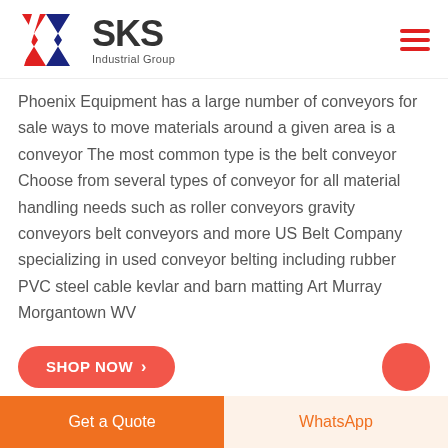[Figure (logo): SKS Industrial Group logo with red and blue K letter mark and bold SKS text]
Phoenix Equipment has a large number of conveyors for sale ways to move materials around a given area is a conveyor The most common type is the belt conveyor Choose from several types of conveyor for all material handling needs such as roller conveyors gravity conveyors belt conveyors and more US Belt Company specializing in used conveyor belting including rubber PVC steel cable kevlar and barn matting Art Murray Morgantown WV
[Figure (other): SHOP NOW button in red rounded rectangle with arrow, and a red circular button]
[Figure (other): Bottom bar with orange Get a Quote button and cream WhatsApp button]